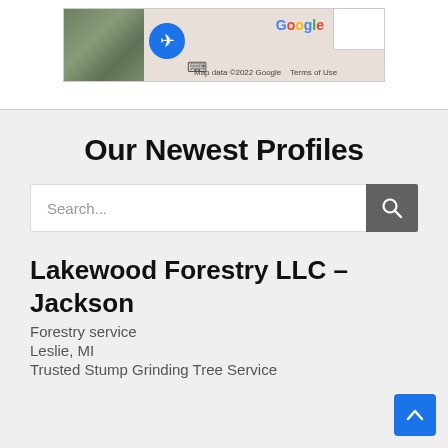[Figure (screenshot): Google Maps partial screenshot showing satellite view on left, airplane location pin icon in blue circle, keyboard icon, Google logo, and map attribution text 'Map data ©2022 Google' and 'Terms of Use'. A white box is in the upper right corner.]
Our Newest Profiles
[Figure (screenshot): Search bar with placeholder text 'Search...' and a dark gray search button with magnifying glass icon on the right.]
Lakewood Forestry LLC – Jackson
Forestry service
Leslie, MI
Trusted Stump Grinding Tree Service